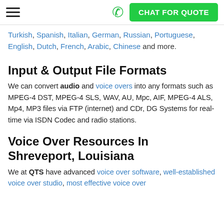≡  📞  CHAT FOR QUOTE
Turkish, Spanish, Italian, German, Russian, Portuguese, English, Dutch, French, Arabic, Chinese and more.
Input & Output File Formats
We can convert audio and voice overs into any formats such as MPEG-4 DST, MPEG-4 SLS, WAV, AU, Mpc, AIF, MPEG-4 ALS, Mp4, MP3 files via FTP (internet) and CDr, DG Systems for real-time via ISDN Codec and radio stations.
Voice Over Resources In Shreveport, Louisiana
We at QTS have advanced voice over software, well-established voice over studio, most effective voice over